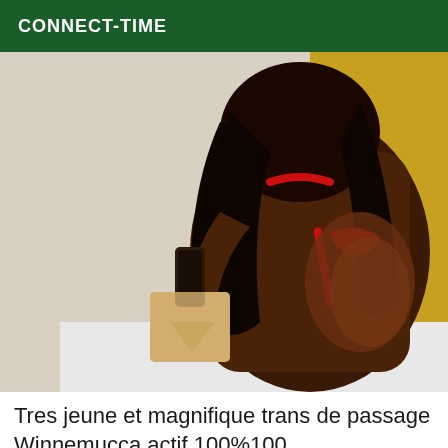CONNECT-TIME
[Figure (photo): Person photographed from behind, with long dark hair, wearing red accessories, in an indoor setting with white and yellow walls.]
Tres jeune et magnifique trans de passage Winnemucca actif 100%100